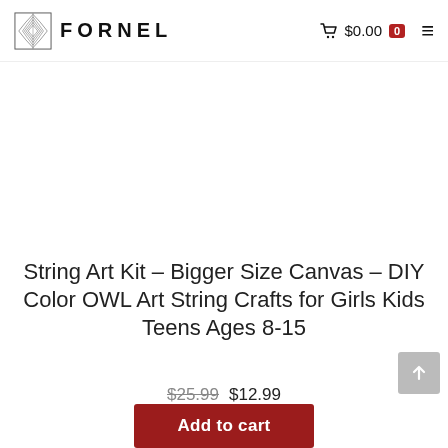FORNEL — $0.00 cart
[Figure (other): White product image area with a small circular chevron/scroll indicator at top center]
String Art Kit – Bigger Size Canvas – DIY Color OWL Art String Crafts for Girls Kids Teens Ages 8-15
$25.99  $12.99
Add to cart